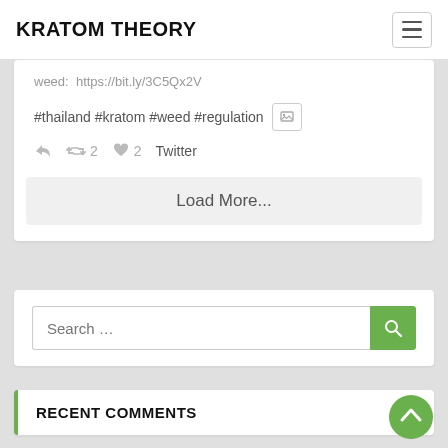KRATOM THEORY
weed:  https://bit.ly/3C5Qx2V
#thailand #kratom #weed #regulation
↩  ↺2  ♥2  Twitter
Load More...
Search ...
RECENT COMMENTS